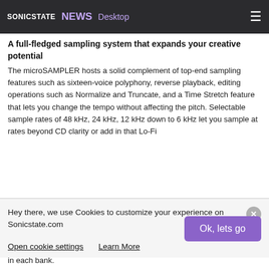SONICSTATE NEWS Desktop
A full-fledged sampling system that expands your creative potential
The microSAMPLER hosts a solid complement of top-end sampling features such as sixteen-voice polyphony, reverse playback, editing operations such as Normalize and Truncate, and a Time Stretch feature that lets you change the tempo without affecting the pitch. Selectable sample rates of 48 kHz, 24 kHz, 12 kHz down to 6 kHz let you sample at rates beyond CD clarity or add in that Lo-Fi
Hey there, we use Cookies to customize your experience on Sonicstate.com
Open cookie settings   Learn More
Ok, lets go
patterns (16,000 notes per pattern or a maximum 64,000) can be stored in each bank.